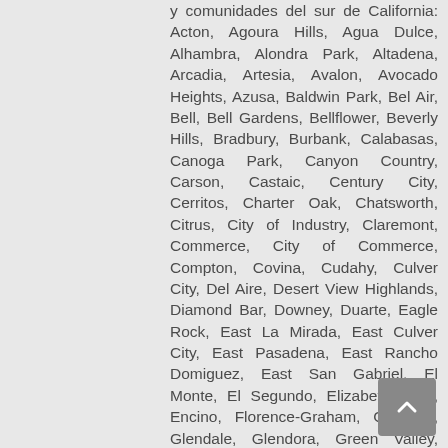y comunidades del sur de California: Acton, Agoura Hills, Agua Dulce, Alhambra, Alondra Park, Altadena, Arcadia, Artesia, Avalon, Avocado Heights, Azusa, Baldwin Park, Bel Air, Bell, Bell Gardens, Bellflower, Beverly Hills, Bradbury, Burbank, Calabasas, Canoga Park, Canyon Country, Carson, Castaic, Century City, Cerritos, Charter Oak, Chatsworth, Citrus, City of Industry, Claremont, Commerce, City of Commerce, Compton, Covina, Cudahy, Culver City, Del Aire, Desert View Highlands, Diamond Bar, Downey, Duarte, Eagle Rock, East La Mirada, East Culver City, East Pasadena, East Rancho Domiguez, East San Gabriel, El Monte, El Segundo, Elizabeth Lake, Encino, Florence-Graham, Gardena, Glendale, Glendora, Green Valley, Hacienda Heights, Hasley Canyon, Hawaiian Gardens, Hawthorne, Hermosa Beach, Hidden Hills, Houston, Dominguez...